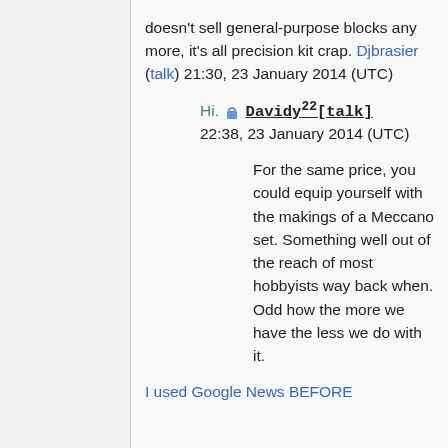doesn't sell general-purpose blocks any more, it's all precision kit crap. Djbrasier (talk) 21:30, 23 January 2014 (UTC)
Hi. 🔒 Davidy22 [talk] 22:38, 23 January 2014 (UTC)
For the same price, you could equip yourself with the makings of a Meccano set. Something well out of the reach of most hobbyists way back when. Odd how the more we have the less we do with it.
I used Google News BEFORE